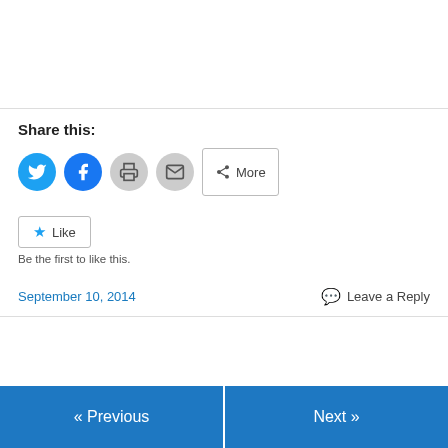Share this:
[Figure (infographic): Social share icons: Twitter (blue circle), Facebook (blue circle), Print (gray circle), Email (gray circle), and a More button]
[Figure (infographic): Like button with blue star icon and text 'Like', below which is text 'Be the first to like this.']
Be the first to like this.
September 10, 2014
Leave a Reply
« Previous
Next »